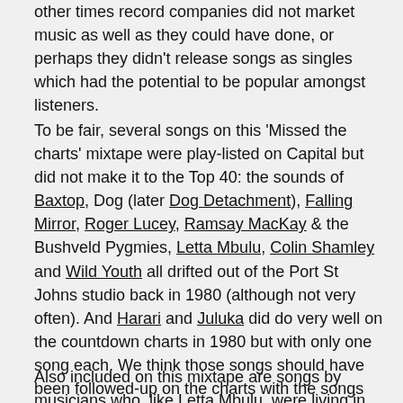other times record companies did not market music as well as they could have done, or perhaps they didn't release songs as singles which had the potential to be popular amongst listeners.
To be fair, several songs on this 'Missed the charts' mixtape were play-listed on Capital but did not make it to the Top 40: the sounds of Baxtop, Dog (later Dog Detachment), Falling Mirror, Roger Lucey, Ramsay MacKay & the Bushveld Pygmies, Letta Mbulu, Colin Shamley and Wild Youth all drifted out of the Port St Johns studio back in 1980 (although not very often). And Harari and Juluka did do very well on the countdown charts in 1980 but with only one song each. We think those songs should have been followed-up on the charts with the songs we feature here.
Also included on this mixtape are songs by musicians who, like Letta Mbulu, were living in exile at the time: